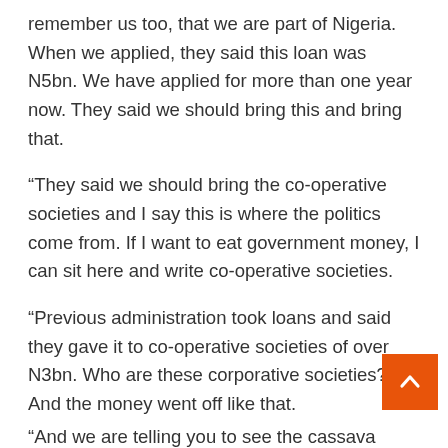remember us too, that we are part of Nigeria. When we applied, they said this loan was N5bn. We have applied for more than one year now. They said we should bring this and bring that.
“They said we should bring the co-operative societies and I say this is where the politics come from. If I want to eat government money, I can sit here and write co-operative societies.
“Previous administration took loans and said they gave it to co-operative societies of over N3bn. Who are these corporative societies? And the money went off like that.
“And we are telling you to see the cassava processing plant that you are supposed to say we will buy into this, we will support the state government. Nothing has happened.”